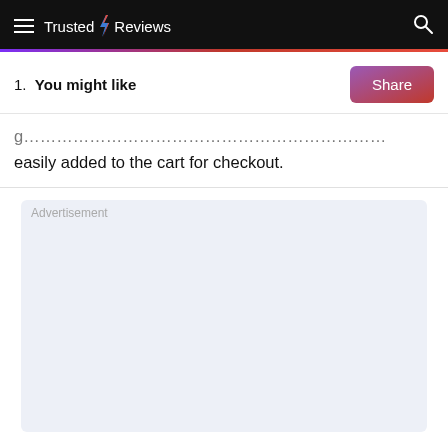Trusted Reviews
1. You might like
easily added to the cart for checkout.
[Figure (other): Advertisement placeholder box with light blue-grey background]